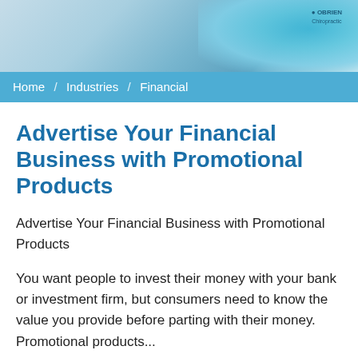[Figure (photo): Website header image showing promotional products including a teal/blue branded item, with text 'O BRIEN Chiropractic' visible on the right side]
Home / Industries / Financial
Advertise Your Financial Business with Promotional Products
Advertise Your Financial Business with Promotional Products
You want people to invest their money with your bank or investment firm, but consumers need to know the value you provide before parting with their money. Promotional products...